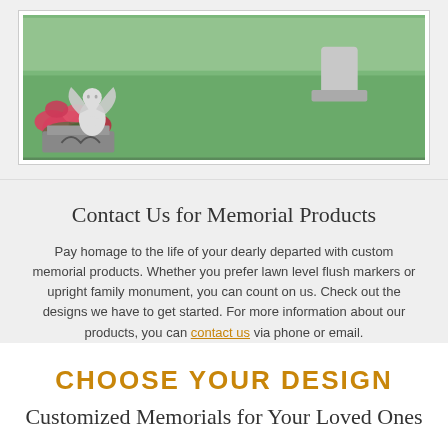[Figure (photo): A cemetery scene with an angel cherub statue in the foreground surrounded by pink/red flowers, with green grass and a gravestone in the background.]
Contact Us for Memorial Products
Pay homage to the life of your dearly departed with custom memorial products. Whether you prefer lawn level flush markers or upright family monument, you can count on us. Check out the designs we have to get started. For more information about our products, you can contact us via phone or email.
CHOOSE YOUR DESIGN
Customized Memorials for Your Loved Ones